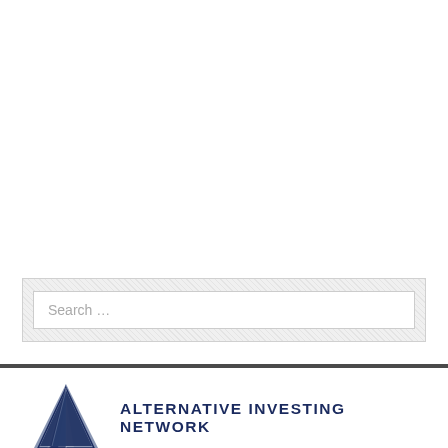[Figure (other): Search input field with placeholder text 'Search …' inside a light gray hatched background panel]
[Figure (logo): Alternative Investing Network logo with dark navy triangle/mountain graphic on the left and bold text 'ALTERNATIVE INVESTING NETWORK' on the right in dark navy blue]